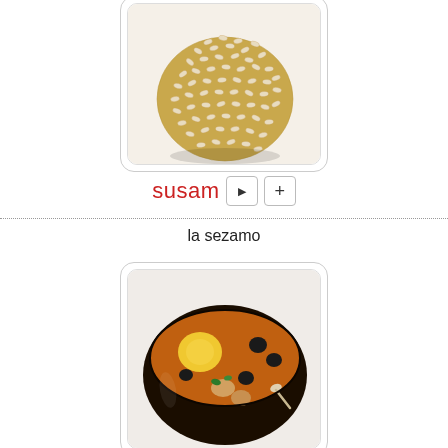[Figure (photo): A round ball covered in sesame seeds on a white background, shown inside a rounded-corner card frame]
susam
la sezamo
[Figure (photo): A bowl of soup (solyanka or similar) with egg yolk, olives, meat chunks, and herbs in a dark bowl, shown inside a rounded-corner card frame]